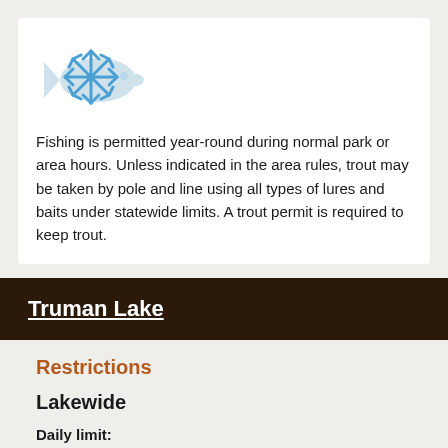[Figure (illustration): Icon showing a fish silhouette overlapping with a blue snowflake, indicating year-round fishing.]
Fishing is permitted year-round during normal park or area hours. Unless indicated in the area rules, trout may be taken by pole and line using all types of lures and baits under statewide limits. A trout permit is required to keep trout.
Truman Lake
Restrictions
Lakewide
Daily limit:
Crappie: 15
Size limit: